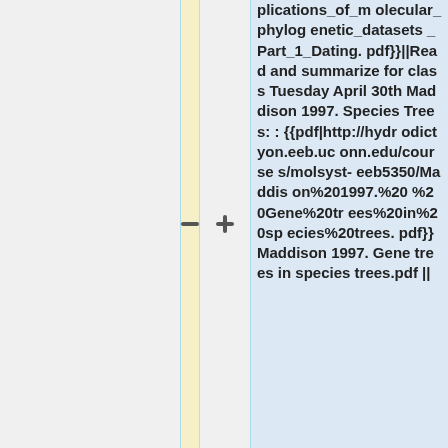|  |  | plications_of_molecular_phylogenetic_datasets_Part_1_Dating.pdf}}||Read and summarize for class Tuesday April 30th Maddison 1997. Species Trees: :{{pdf|http://hydrodictyon.eeb.uconn.edu/courses/molsyst-eeb5350/Maddison%201997.%20%20Gene%20trees%20in%20species%20trees.pdf}}Maddison 1997.  Gene trees in species trees.pdf || |